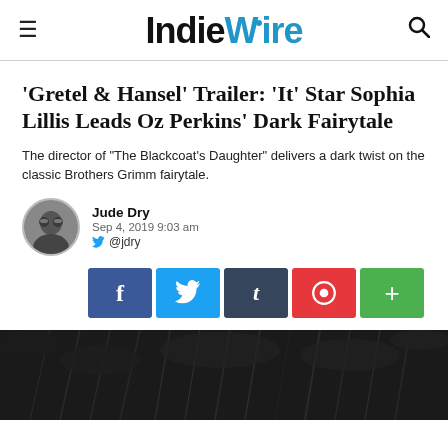IndieWire
'Gretel & Hansel' Trailer: 'It' Star Sophia Lillis Leads Oz Perkins' Dark Fairytale
The director of "The Blackcoat's Daughter" delivers a dark twist on the classic Brothers Grimm fairytale.
Jude Dry
Sep 4, 2019 9:03 am
@jdry
[Figure (other): Social share buttons: Facebook (f), Twitter (bird), Tumblr (t), Pinterest (circle pin), Plus (+)]
[Figure (photo): Dark, moody black and white photograph showing bare tree branches against a dark sky, used as hero image for the article]